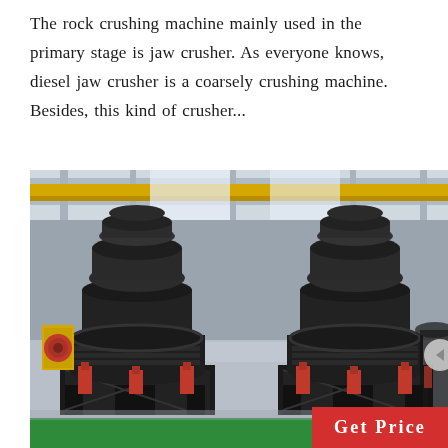The rock crushing machine mainly used in the primary stage is jaw crusher. As everyone knows, diesel jaw crusher is a coarsely crushing machine. Besides, this kind of crusher...
[Figure (photo): Factory floor showing two large black cone crusher machines on metal frames, with red hydraulic cylinders at the base. Yellow overhead crane visible in background. Industrial facility with green floor strip at bottom.]